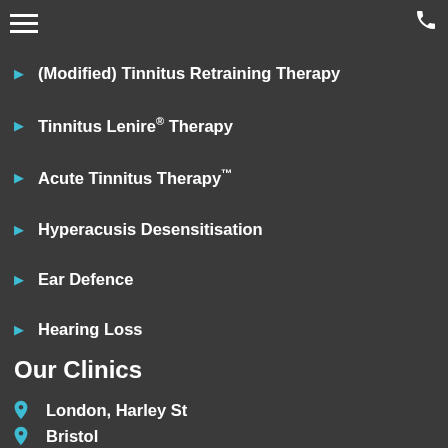Tinnitus Treatment (nav bar)
Tinnitus Desensitisation Therapy ™
(Modified) Tinnitus Retraining Therapy
Tinnitus Lenire® Therapy
Acute Tinnitus Therapy™
Hyperacusis Desensitisation
Ear Defence
Hearing Loss
Our Clinics
London, Harley St
Bristol
Leeds
Leicester
Manchester